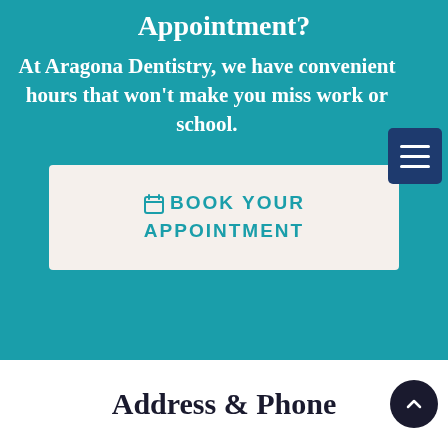Appointment?
At Aragona Dentistry, we have convenient hours that won't make you miss work or school.
[Figure (other): Hamburger menu icon button with dark blue background and three white horizontal lines]
BOOK YOUR APPOINTMENT
Address & Phone